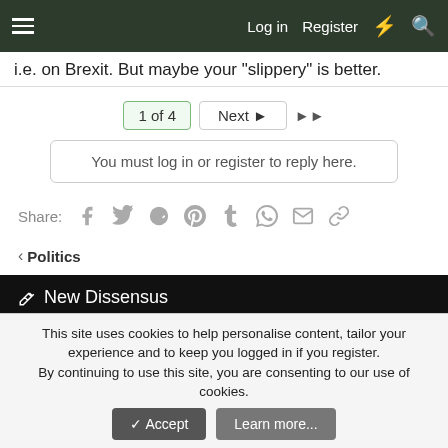Log in  Register
i.e. on Brexit. But maybe your "slippery" is better.
1 of 4  Next  >>
You must log in or register to reply here.
Share:
< Politics
New Dissensus  Contact us  Terms and rules  Privacy policy  Help  Forum software by XenForo® © 2010-2021 XenForo Ltd.
This site uses cookies to help personalise content, tailor your experience and to keep you logged in if you register. By continuing to use this site, you are consenting to our use of cookies.  Accept  Learn more...